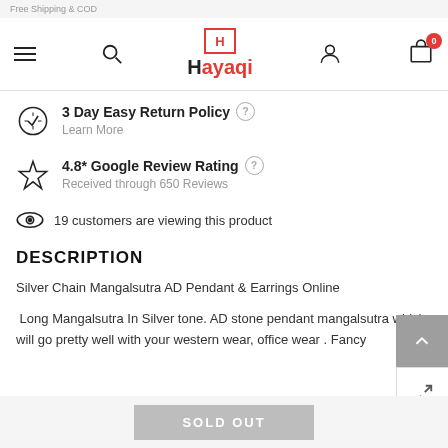Free Shipping & COD
[Figure (logo): Hayaqi logo with red H in a box and red text]
3 Day Easy Return Policy
Learn More
4.8* Google Review Rating
Received through 650 Reviews
19 customers are viewing this product
DESCRIPTION
Silver Chain Mangalsutra AD Pendant & Earrings Online
Long Mangalsutra In Silver tone. AD stone pendant mangalsutra which will go pretty well with your western wear, office wear . Fancy
SOLD OUT